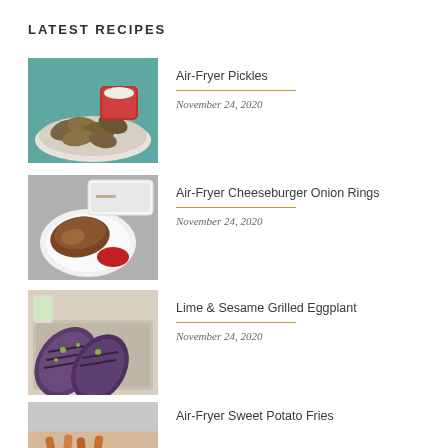LATEST RECIPES
[Figure (photo): Fried pickles in a bowl with a red dipping sauce cup]
Air-Fryer Pickles
November 24, 2020
[Figure (photo): Air-fryer cheeseburger onion rings on a white plate with ketchup]
Air-Fryer Cheeseburger Onion Rings
November 24, 2020
[Figure (photo): Grilled eggplant slices with lime and sesame on a baking sheet]
Lime & Sesame Grilled Eggplant
November 24, 2020
[Figure (photo): Air-fryer sweet potato fries]
Air-Fryer Sweet Potato Fries